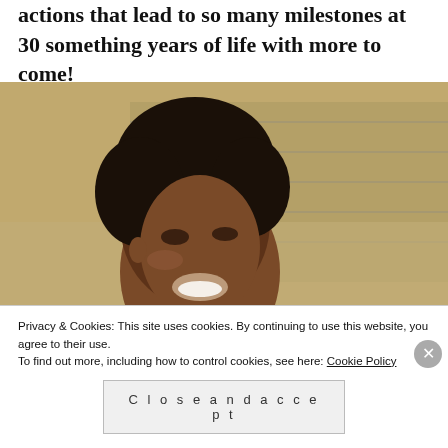actions that lead to so many milestones at 30 something years of life with more to come!
[Figure (photo): A smiling woman with natural hair, wearing a red top, photographed outdoors near a chain-link fence with dry grassy hillside in the background.]
Privacy & Cookies: This site uses cookies. By continuing to use this website, you agree to their use.
To find out more, including how to control cookies, see here: Cookie Policy
Close and accept